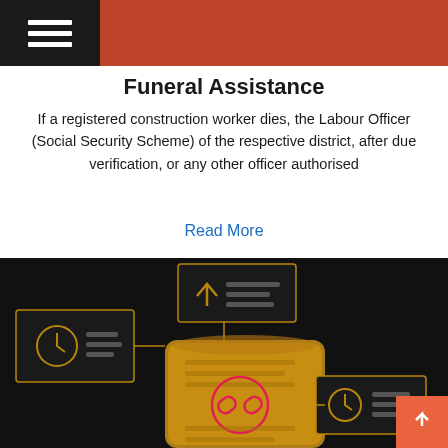Funeral Assistance
If a registered construction worker dies, the Labour Officer (Social Security Scheme) of the respective district, after due verification, or any other officer authorised
Read More
[Figure (illustration): Dark background infographic showing document/policy icons with golden outlines, a central scroll document with a red broken-link circle icon, surrounding cards with clock/checkmark icons and text lines, and a top card with an upward arrow indicating navigation or notification. A coral/orange scroll-to-top button appears in the bottom right.]